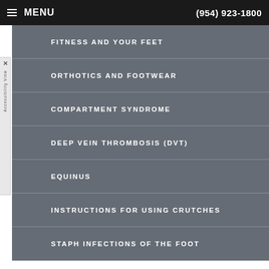MENU  (954) 923-1800
FITNESS AND YOUR FEET
ORTHOTICS AND FOOTWEAR
COMPARTMENT SYNDROME
DEEP VEIN THROMBOSIS (DVT)
EQUINUS
INSTRUCTIONS FOR USING CRUTCHES
STAPH INFECTIONS OF THE FOOT